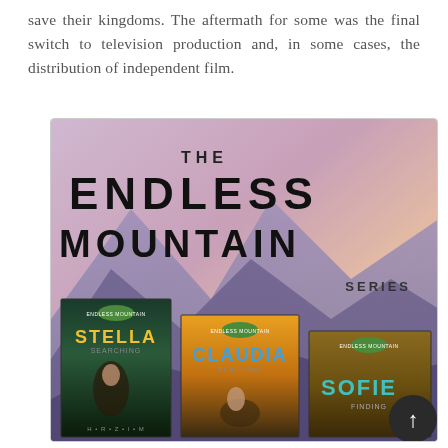save their kingdoms. The aftermath for some was the final switch to television production and, in some cases, the distribution of independent film.
[Figure (illustration): Book series promotional image for 'The Endless Mountain Series', showing three book covers: Stella, Claudia, and Sofie, against a purple/pink mountain landscape background.]